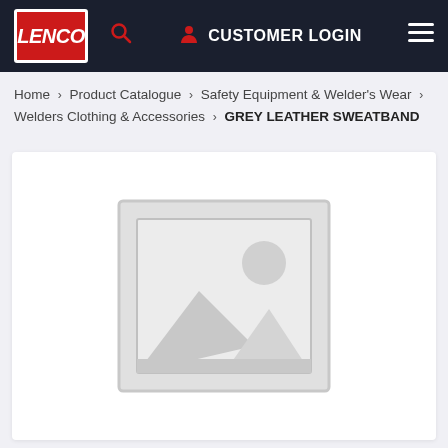LENCO | CUSTOMER LOGIN
Home > Product Catalogue > Safety Equipment & Welder's Wear > Welders Clothing & Accessories > GREY LEATHER SWEATBAND
[Figure (photo): Placeholder image showing a generic image icon (mountain and sun silhouette inside a picture frame outline) indicating no product photo is available yet.]